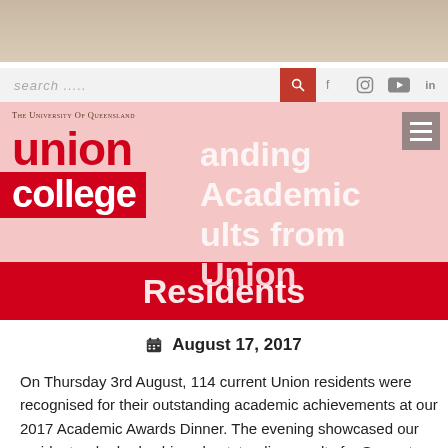[Figure (photo): Background photo strip at the top of the page, blurred warm-toned image]
[Figure (screenshot): Website header with search bar, social media icons (Facebook, Instagram, YouTube, LinkedIn), University of Queensland Union College logo, and banner text reading 'Outstanding Academic Results from Union Residents']
August 17, 2017
On Thursday 3rd August, 114 current Union residents were recognised for their outstanding academic achievements at our 2017 Academic Awards Dinner. The evening showcased our residents who had achieved outstanding results for Semester 1, 2017 as well as second and third year residents recognised for their ongoing academic